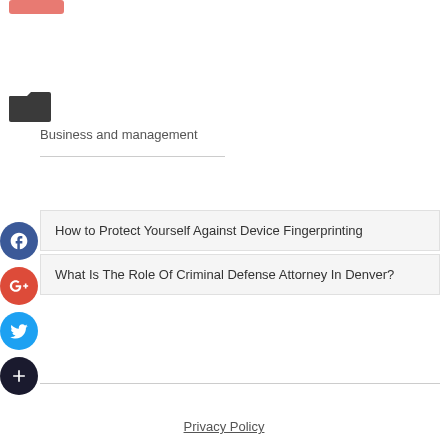[Figure (other): Salmon/coral colored button at top left]
[Figure (other): Folder icon (open folder, dark gray)]
Business and management
How to Protect Yourself Against Device Fingerprinting
What Is The Role Of Criminal Defense Attorney In Denver?
[Figure (other): Facebook social share icon (blue circle with f)]
[Figure (other): Google+ social share icon (red circle with g+)]
[Figure (other): Twitter social share icon (blue circle with bird)]
[Figure (other): Add/plus social share icon (dark circle with +)]
Privacy Policy